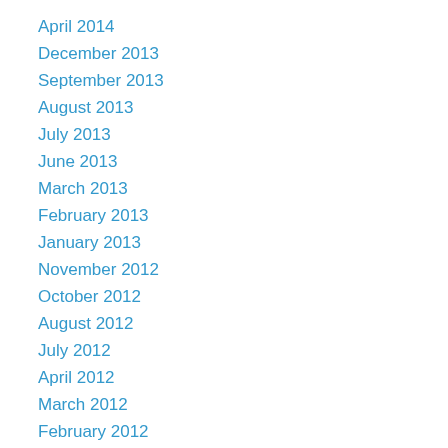April 2014
December 2013
September 2013
August 2013
July 2013
June 2013
March 2013
February 2013
January 2013
November 2012
October 2012
August 2012
July 2012
April 2012
March 2012
February 2012
January 2012
December 2011
November 2011
October 2011